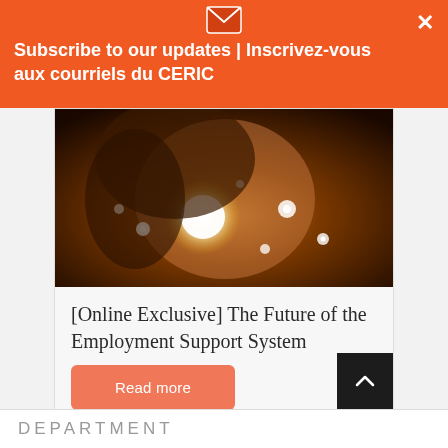Subscribe to our updates | Inscrivez-vous aux courriels du CERIC
[Figure (photo): A person holding glowing fairy lights close to their face, warm dark tones]
[Online Exclusive] The Future of the Employment Support System
Read more
DEPARTMENT